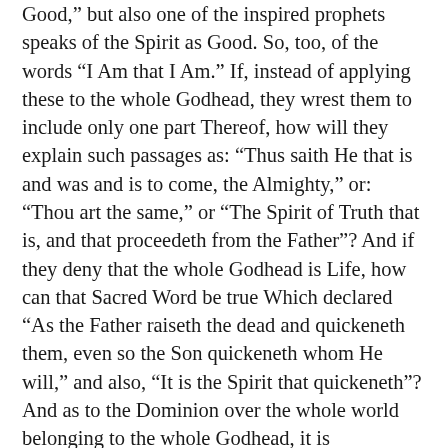Good," but also one of the inspired prophets speaks of the Spirit as Good. So, too, of the words “I Am that I Am.” If, instead of applying these to the whole Godhead, they wrest them to include only one part Thereof, how will they explain such passages as: “Thus saith He that is and was and is to come, the Almighty,” or: “Thou art the same,” or “The Spirit of Truth that is, and that proceedeth from the Father”? And if they deny that the whole Godhead is Life, how can that Sacred Word be true Which declared “As the Father raiseth the dead and quickeneth them, even so the Son quickeneth whom He will,” and also, “It is the Spirit that quickeneth”? And as to the Dominion over the whole world belonging to the whole Godhead, it is impossible, methinks, to say (as far as concerns the Paternal and the Filial Godhead) how often in the Scriptures the Name of “Lord” is repeated as belonging both to the Father and to the Son: